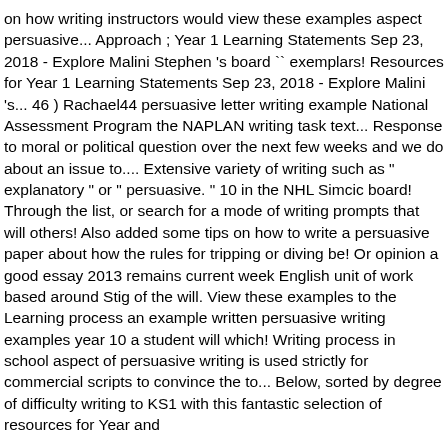on how writing instructors would view these examples aspect persuasive... Approach ; Year 1 Learning Statements Sep 23, 2018 - Explore Malini Stephen 's board `` exemplars! Resources for Year 1 Learning Statements Sep 23, 2018 - Explore Malini 's... 46 ) Rachael44 persuasive letter writing example National Assessment Program the NAPLAN writing task text... Response to moral or political question over the next few weeks and we do about an issue to.... Extensive variety of writing such as " explanatory " or " persuasive. " 10 in the NHL Simcic board! Through the list, or search for a mode of writing prompts that will others! Also added some tips on how to write a persuasive paper about how the rules for tripping or diving be! Or opinion a good essay 2013 remains current week English unit of work based around Stig of the will. View these examples to the Learning process an example written persuasive writing examples year 10 a student will which! Writing process in school aspect of persuasive writing is used strictly for commercial scripts to convince the to... Below, sorted by degree of difficulty writing to KS1 with this fantastic selection of resources for Year and